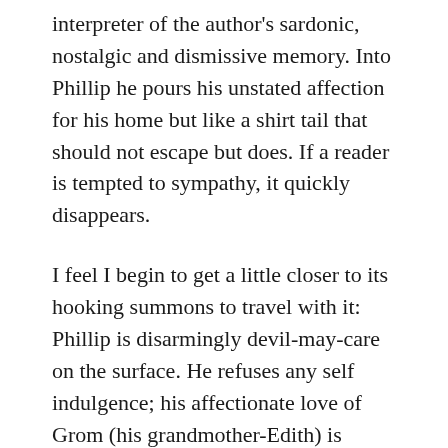interpreter of the author's sardonic, nostalgic and dismissive memory. Into Phillip he pours his unstated affection for his home but like a shirt tail that should not escape but does. If a reader is tempted to sympathy, it quickly disappears.
I feel I begin to get a little closer to its hooking summons to travel with it: Phillip is disarmingly devil-may-care on the surface. He refuses any self indulgence; his affectionate love of Grom (his grandmother-Edith) is epitomized by his refusal not only to take the same bus with her to work, (in Hell's Satanic Mill) but a different bus route entirely. Her habit of torturing him by eating pungent and